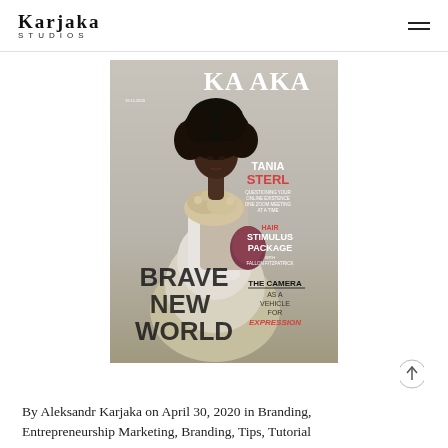KARJAKA STUDIOS
[Figure (photo): Magazine cover of KARJAKA magazine featuring model Tania Sterl in a layered dress with fur accessories. Cover headlines include: BRAVE NEW WORLD, TANIA STERL, QUESTIONING YOUR ONLINE EXISTENCE ONE ZOOM MEETING AT A TIME, HAIR STIMULUS PACKAGE WITH FALLON FITZPATRICK, THE CAMERA AS A VEHICLE FOR EXPRESSION]
By Aleksandr Karjaka on April 30, 2020 in Branding, Entrepreneurship Marketing, Branding, Tips, Tutorial